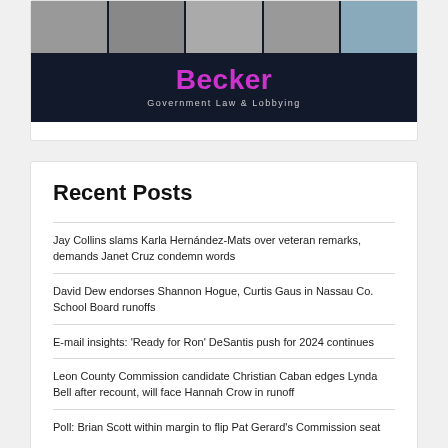[Figure (logo): Becker Government Law & Lobbying logo with group photo of men in suits above dark navy background]
Recent Posts
Jay Collins slams Karla Hernández-Mats over veteran remarks, demands Janet Cruz condemn words
David Dew endorses Shannon Hogue, Curtis Gaus in Nassau Co. School Board runoffs
E-mail insights: 'Ready for Ron' DeSantis push for 2024 continues
Leon County Commission candidate Christian Caban edges Lynda Bell after recount, will face Hannah Crow in runoff
Poll: Brian Scott within margin to flip Pat Gerard's Commission seat